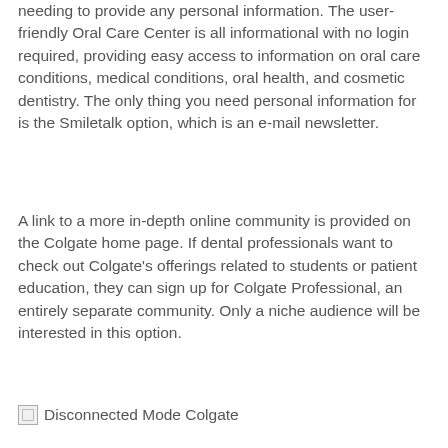needing to provide any personal information. The user-friendly Oral Care Center is all informational with no login required, providing easy access to information on oral care conditions, medical conditions, oral health, and cosmetic dentistry. The only thing you need personal information for is the Smiletalk option, which is an e-mail newsletter.
A link to a more in-depth online community is provided on the Colgate home page. If dental professionals want to check out Colgate's offerings related to students or patient education, they can sign up for Colgate Professional, an entirely separate community. Only a niche audience will be interested in this option.
[Figure (other): Broken image placeholder with label text 'Disconnected Mode Colgate']